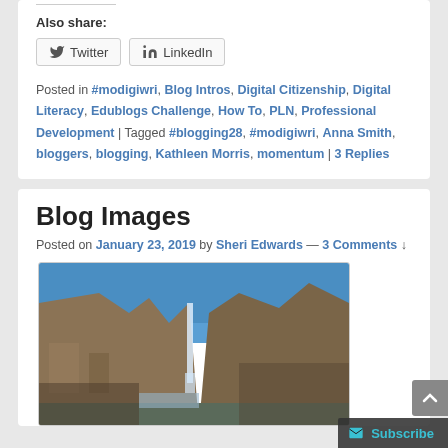Also share:
Twitter | LinkedIn
Posted in #modigiwri, Blog Intros, Digital Citizenship, Digital Literacy, Edublogs Challenge, How To, PLN, Professional Development | Tagged #blogging28, #modigiwri, Anna Smith, bloggers, blogging, Kathleen Morris, momentum | 3 Replies
Blog Images
Posted on January 23, 2019 by Sheri Edwards — 3 Comments ↓
[Figure (photo): Photo of a rocky cliff with a waterfall and blue sky]